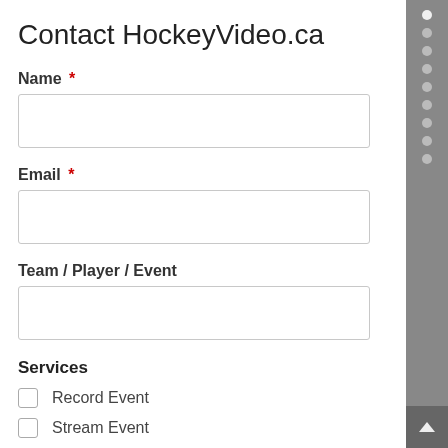Contact HockeyVideo.ca
Name *
Email *
Team / Player / Event
Services
Record Event
Stream Event
Video Editing
Which services are you interested in? Check all that apply.